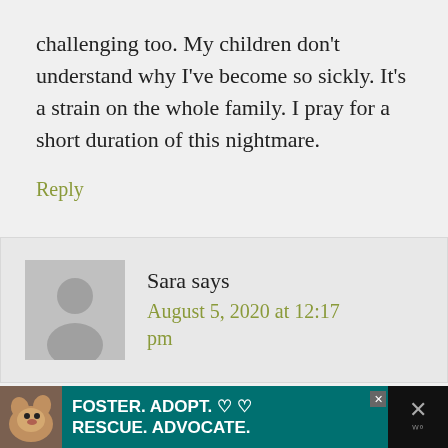challenging too. My children don't understand why I've become so sickly. It's a strain on the whole family. I pray for a short duration of this nightmare.
Reply
Sara says
August 5, 2020 at 12:17 pm
[Figure (other): Advertisement banner: dog photo on left, teal background with bold white text 'FOSTER. ADOPT. RESCUE. ADVOCATE.' with heart icons, close button on right]